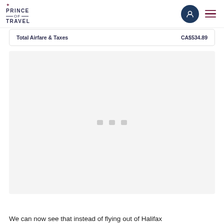Prince of Travel
| Total Airfare & Taxes | CA$534.89 |
| --- | --- |
[Figure (screenshot): Loading placeholder area with three small grey square dots centered, representing a loading/pending content region on the Prince of Travel website]
We can now see that instead of flying out of Halifax